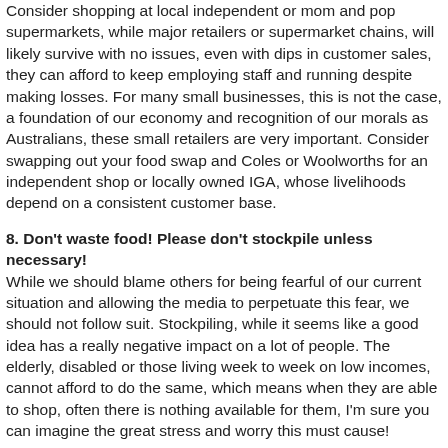Consider shopping at local independent or mom and pop supermarkets, while major retailers or supermarket chains, will likely survive with no issues, even with dips in customer sales, they can afford to keep employing staff and running despite making losses. For many small businesses, this is not the case, a foundation of our economy and recognition of our morals as Australians, these small retailers are very important. Consider swapping out your food swap and Coles or Woolworths for an independent shop or locally owned IGA, whose livelihoods depend on a consistent customer base.
8. Don't waste food! Please don't stockpile unless necessary!
While we should blame others for being fearful of our current situation and allowing the media to perpetuate this fear, we should not follow suit. Stockpiling, while it seems like a good idea has a really negative impact on a lot of people. The elderly, disabled or those living week to week on low incomes, cannot afford to do the same, which means when they are able to shop, often there is nothing available for them, I'm sure you can imagine the great stress and worry this must cause!
It is especially important not to waste food, something we are all guilty of! If you are buying in excess and not even eating the food, please consider buying more sustainably, so there is